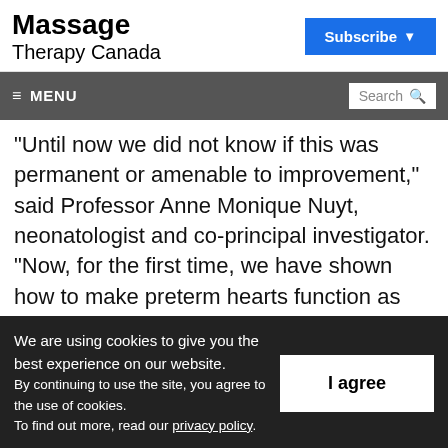Massage Therapy Canada
Subscribe
≡ MENU | Search
“Until now we did not know if this was permanent or amenable to improvement,” said Professor Anne Monique Nuyt, neonatologist and co-principal investigator. “Now, for the first time, we have shown how to make preterm hearts function as well as their
We are using cookies to give you the best experience on our website.
By continuing to use the site, you agree to the use of cookies.
To find out more, read our privacy policy.